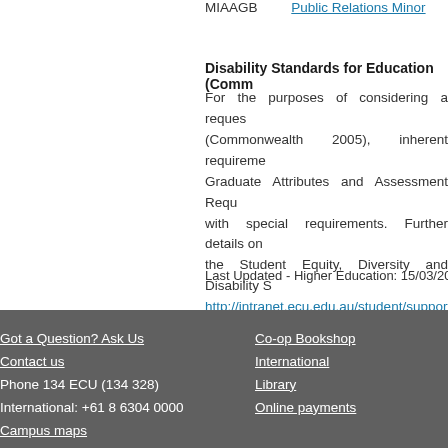MIAAGB    Public Relations Minor
Disability Standards for Education (Comm...
For the purposes of considering a request (Commonwealth 2005), inherent requirements Graduate Attributes and Assessment Requirements with special requirements. Further details on the Student Equity, Diversity and Disability S http://intranet.ecu.edu.au/student/support/st...
Last Updated - Higher Education: 15/03/2012 VET: 15/...
Got a Question? Ask Us
Contact us
Phone 134 ECU (134 328)
International: +61 8 6304 0000
Campus maps
Co-op Bookshop
International
Library
Online payments